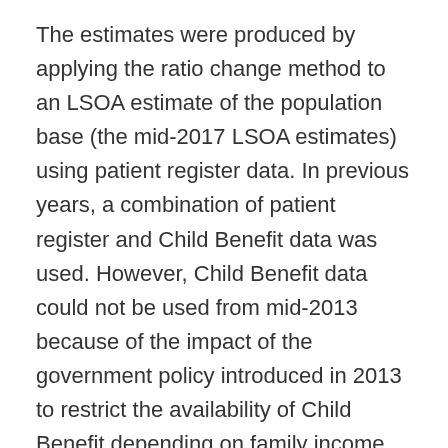The estimates were produced by applying the ratio change method to an LSOA estimate of the population base (the mid-2017 LSOA estimates) using patient register data. In previous years, a combination of patient register and Child Benefit data was used. However, Child Benefit data could not be used from mid-2013 because of the impact of the government policy introduced in 2013 to restrict the availability of Child Benefit depending on family income. This issue is discussed in more detail in the Quality and Methodology Information (QMI) report.
Before applying these change ratios, some population counts are subtracted (referred to as the special